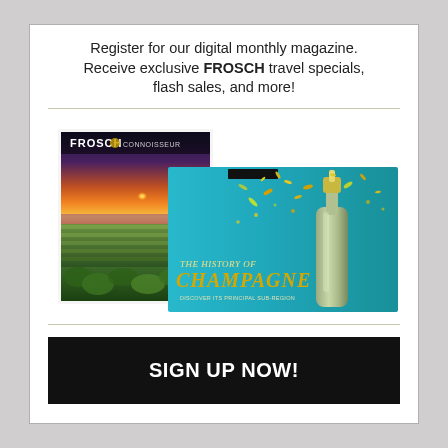Register for our digital monthly magazine. Receive exclusive FROSCH travel specials, flash sales, and more!
[Figure (illustration): Two overlapping magazine covers: back cover shows FROSCH magazine with a sunset vineyard landscape; front cover shows a teal/turquoise magazine titled 'THE HISTORY OF CHAMPAGNE' with a champagne bottle popping and gold confetti.]
SIGN UP NOW!